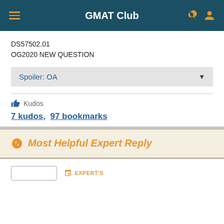GMAT Club
DS57502.01
OG2020 NEW QUESTION
Spoiler: OA
👍 Kudos
7 kudos,  97 bookmarks
Most Helpful Expert Reply
EXPERT'S